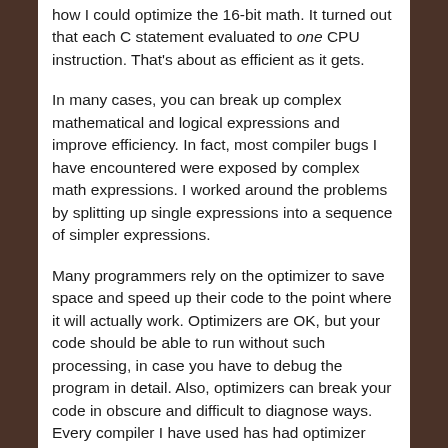how I could optimize the 16-bit math. It turned out that each C statement evaluated to one CPU instruction. That's about as efficient as it gets.
In many cases, you can break up complex mathematical and logical expressions and improve efficiency. In fact, most compiler bugs I have encountered were exposed by complex math expressions. I worked around the problems by splitting up single expressions into a sequence of simpler expressions.
Many programmers rely on the optimizer to save space and speed up their code to the point where it will actually work. Optimizers are OK, but your code should be able to run without such processing, in case you have to debug the program in detail. Also, optimizers can break your code in obscure and difficult to diagnose ways. Every compiler I have used has had optimizer problems. Generally the lesser levels of size and speed optimization are safe, and they get you 80% of the benefit anyway.